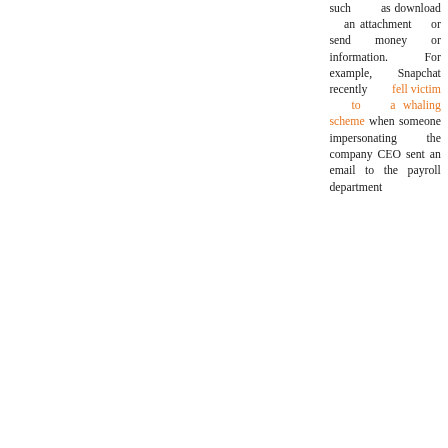such as download an attachment or send money or information. For example, Snapchat recently fell victim to a whaling scheme when someone impersonating the company CEO sent an email to the payroll department